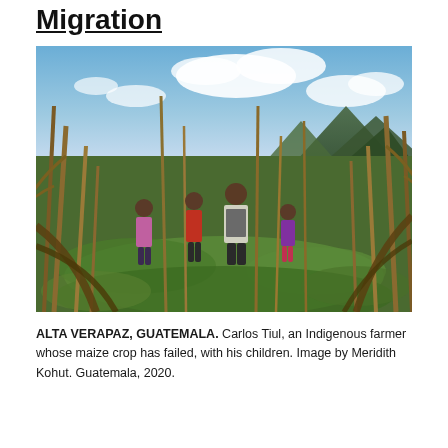Migration
[Figure (photo): A family of four — a man and three children — standing amid dried maize stalks and green ground cover in a field, with mountains and a partly cloudy sky in the background. Alta Verapaz, Guatemala, 2020.]
ALTA VERAPAZ, GUATEMALA. Carlos Tiul, an Indigenous farmer whose maize crop has failed, with his children. Image by Meridith Kohut. Guatemala, 2020.